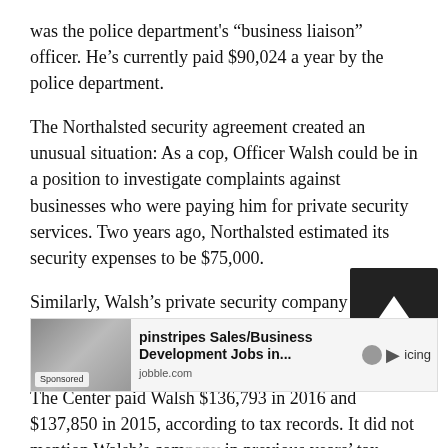was the police department's “business liaison” officer. He’s currently paid $90,024 a year by the police department.
The Northalsted security agreement created an unusual situation: As a cop, Officer Walsh could be in a position to investigate complaints against businesses who were paying him for private security services. Two years ago, Northalsted estimated its security expenses to be $75,000.
Similarly, Walsh’s private security company has provided guards for the Center on Halsted’s complex at 3656 North Halsted since at least 2012.
The Center paid Walsh $136,793 in 2016 and $137,850 in 2015, according to tax records. It did not mention Walsh’s com[pany] in previous years’ tax returns.
Yet Wa[lsh handled policing/pricing] matters with the Center while he also received large sums of money for private services.